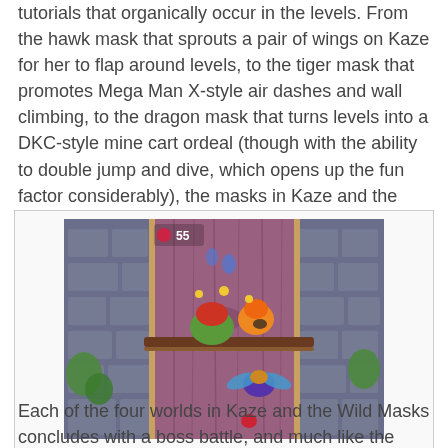tutorials that organically occur in the levels. From the hawk mask that sprouts a pair of wings on Kaze for her to flap around levels, to the tiger mask that promotes Mega Man X-style air dashes and wall climbing, to the dragon mask that turns levels into a DKC-style mine cart ordeal (though with the ability to double jump and dive, which opens up the fun factor considerably), the masks in Kaze and the Wild Masks are all fun to use for the most part.
[Figure (screenshot): A game screenshot showing a colorful platformer level with a vertical wooden tree trunk in the center. A character with a hawk/bird mask is visible in the mid-right area. Other characters and collectibles are visible. The background shows stone walls with green vines.]
Take flight, Kaze! The hawk is but one of the four masks featured in the game.
Each of the four worlds in Kaze and the Wild Masks concludes with a boss battle, and much like the levels and